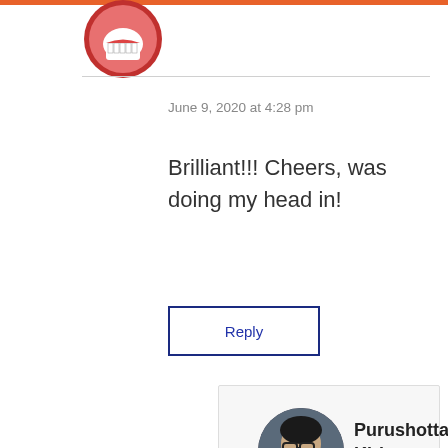[Figure (photo): Circular avatar image with cartoon character (smiling teeth, pink/red colors) at top left area]
June 9, 2020 at 4:28 pm
Brilliant!!! Cheers, was doing my head in!
Reply
[Figure (photo): Circular avatar photo of a young man with glasses and beard]
Purushottam Kiri says:
June 9, 2020 at 4:45 pm